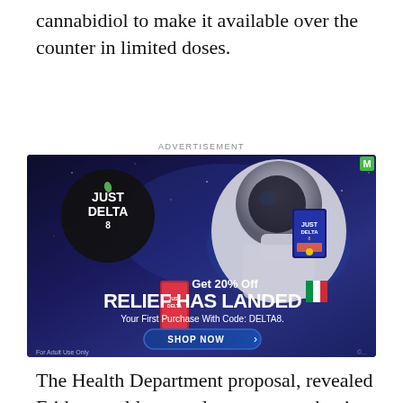cannabidiol to make it available over the counter in limited doses.
ADVERTISEMENT
[Figure (photo): Just Delta 8 advertisement showing an astronaut in space holding a Just Delta product box. Text reads: 'Get 20% Off RELIEF HAS LANDED Your First Purchase With Code: DELTA8. SHOP NOW. For Adult Use Only.' M logo in top-right corner.]
The Health Department proposal, revealed Friday, could open a large new market in a